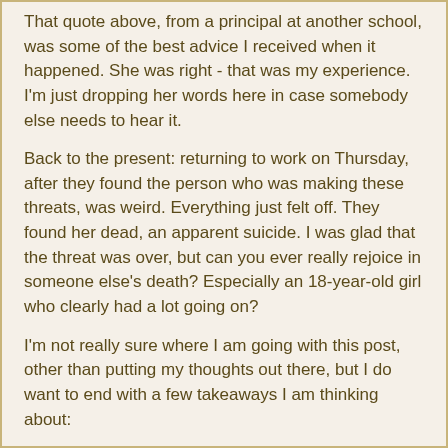That quote above, from a principal at another school, was some of the best advice I received when it happened. She was right - that was my experience. I'm just dropping her words here in case somebody else needs to hear it.
Back to the present: returning to work on Thursday, after they found the person who was making these threats, was weird. Everything just felt off. They found her dead, an apparent suicide. I was glad that the threat was over, but can you ever really rejoice in someone else's death? Especially an 18-year-old girl who clearly had a lot going on?
I'm not really sure where I am going with this post, other than putting my thoughts out there, but I do want to end with a few takeaways I am thinking about:
Watch out for each other. We are built for relationships & connection, and it makes a big difference in life.
Reach out. I was so grateful for a friend who texted me, following the school closure, to share her